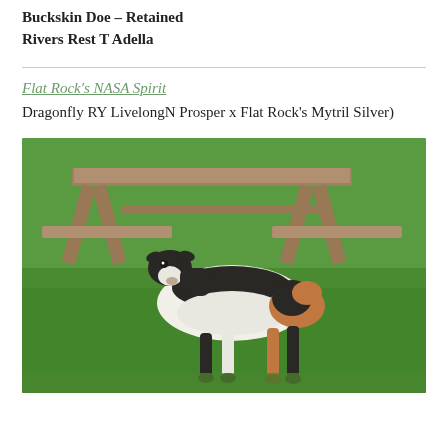Buckskin Doe – Retained
Rivers Rest T Adella
Flat Rock's NASA Spirit
Dragonfly RY LivelongN Prosper x Flat Rock's Mytril Silver)
[Figure (photo): A black, white, and tan Nigerian Dwarf goat standing on green grass in front of a wooden picnic table.]